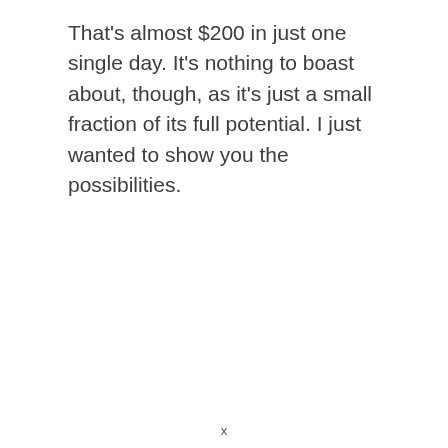That's almost $200 in just one single day. It's nothing to boast about, though, as it's just a small fraction of its full potential. I just wanted to show you the possibilities.
x